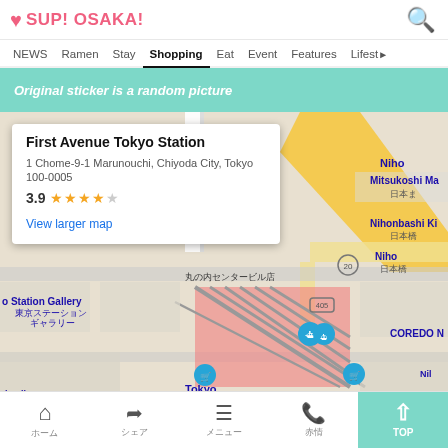SUP! OSAKA! [logo with heart icon and search icon]
NEWS | Ramen | Stay | Shopping | Eat | Event | Features | Lifest…
Original sticker is a random picture
[Figure (map): Google Maps screenshot showing First Avenue Tokyo Station location in Marunouchi, Chiyoda City, Tokyo with a map popup showing address and 3.9 star rating]
First Avenue Tokyo Station
1 Chome-9-1 Marunouchi, Chiyoda City, Tokyo 100-0005
3.9 ★★★★☆
View larger map
Home | Share | Menu | Phone | TOP↑